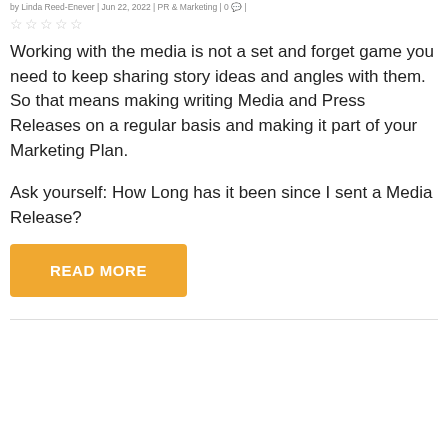by Linda Reed-Enever | Jun 22, 2022 | PR & Marketing | 0 |
☆☆☆☆☆
Working with the media is not a set and forget game you need to keep sharing story ideas and angles with them. So that means making writing Media and Press Releases on a regular basis and making it part of your Marketing Plan.
Ask yourself: How Long has it been since I sent a Media Release?
READ MORE